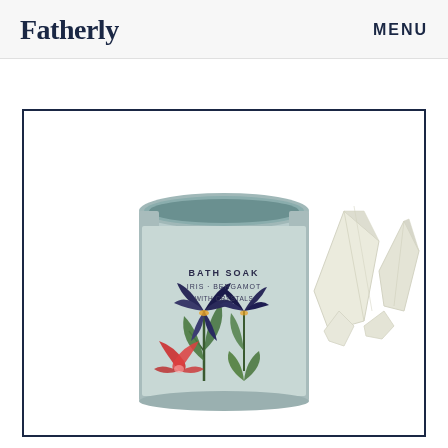Fatherly   MENU
[Figure (photo): Product photo of a bath soak tin canister with floral (iris) artwork label in light blue/mint, showing the top open, alongside some crystal/quartz pieces, displayed inside a dark navy border frame on a white background.]